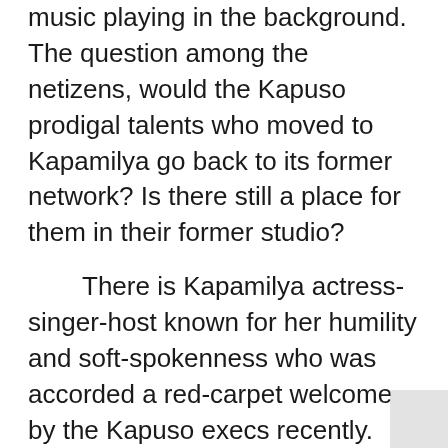music playing in the background. The question among the netizens, would the Kapuso prodigal talents who moved to Kapamilya go back to its former network? Is there still a place for them in their former studio?
There is Kapamilya actress-singer-host known for her humility and soft-spokenness who was accorded a red-carpet welcome by the Kapuso execs recently. Surely, her socmed followers and fans will have a giddy reaction if and when they learn that their idol has been accorded a warm welcome by the management of the reigning top network.
This could be the reason why she has been silent about the word war the controversial actress started against those who are not joining her battle.